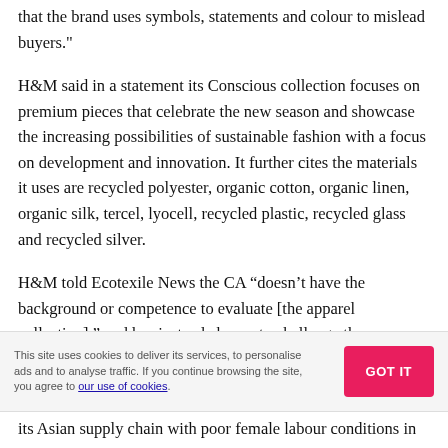that the brand uses symbols, statements and colour to mislead buyers."
H&M said in a statement its Conscious collection focuses on premium pieces that celebrate the new season and showcase the increasing possibilities of sustainable fashion with a focus on development and innovation. It further cites the materials it uses are recycled polyester, organic cotton, organic linen, organic silk, tercel, lyocell, recycled plastic, recycled glass and recycled silver.
H&M told Ecotexile News the CA “doesn’t have the background or competence to evaluate [the apparel collection],” and has instead chosen to challenge the
This site uses cookies to deliver its services, to personalise ads and to analyse traffic. If you continue browsing the site, you agree to our use of cookies.
its Asian supply chain with poor female labour conditions in